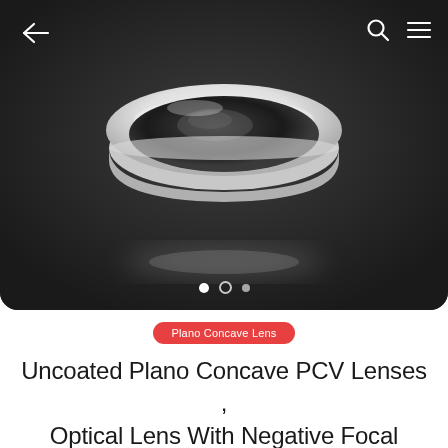[Figure (photo): A plano-concave optical lens (cylindrical white-edged glass lens with concave dark front face) photographed on a dark reflective surface with a light reflection beneath it. The image shows three navigation dots at the bottom (one filled white, one ring outline, one smaller filled) indicating a carousel. Navigation arrows and search/menu icons are visible in the top corners.]
Plano Concave Lens
Uncoated Plano Concave PCV Lenses , Optical Lens With Negative Focal Lengths